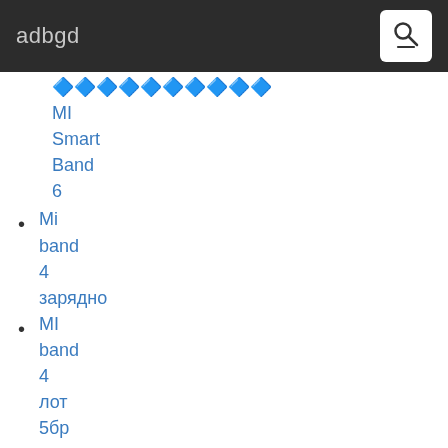adbgd
🔷🔷🔷🔷🔷🔷🔷🔷🔷🔷 MI Smart Band 6
Mi band 4 зарядно
MI band 4 лот 5бр силиконови гривна каишка
Каишка за часовник Huawei